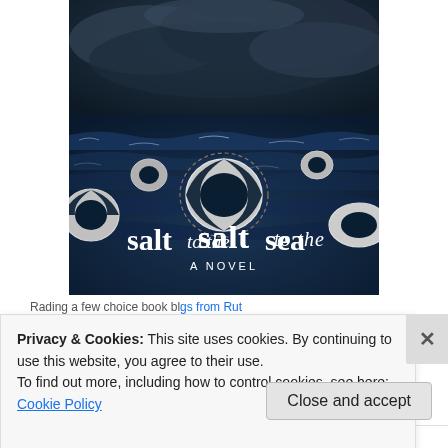[Figure (illustration): Book cover for 'salt to the sea — A Novel' showing a stormy dark ocean scene with white life preservers/rings floating on turbulent blue-grey waves under a dramatic cloudy sky. The title 'salt to the sea' appears in large mixed serif/italic font, with 'A NOVEL' in small caps below.]
Privacy & Cookies: This site uses cookies. By continuing to use this website, you agree to their use.
To find out more, including how to control cookies, see here: Cookie Policy
Close and accept